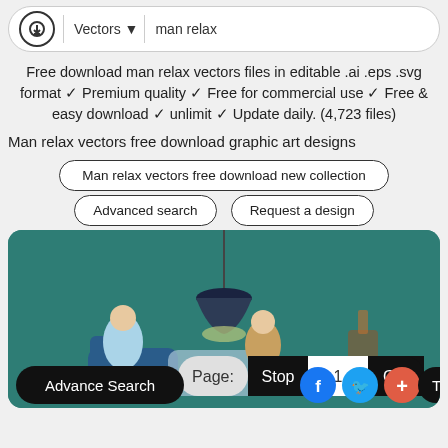Vectors ▼  man relax
Free download man relax vectors files in editable .ai .eps .svg format ✓ Premium quality ✓ Free for commercial use ✓ Free & easy download ✓ unlimit ✓ Update daily. (4,723 files)
Man relax vectors free download graphic art designs
Man relax vectors free download new collection
Advanced search    Request a design
[Figure (illustration): Illustration of a man relaxing under a pendant lamp, teal background, with page navigation bar (Page: Stop 1 Go!) and social/action buttons (Advance Search, Facebook, Twitter, +, Top)]